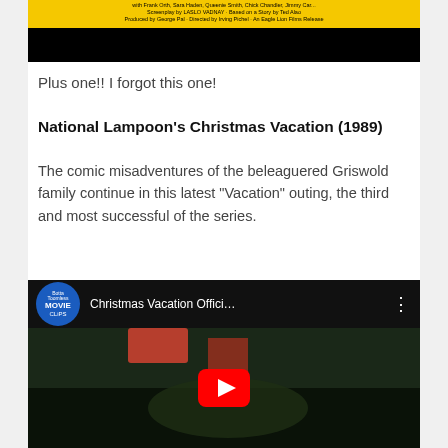[Figure (screenshot): Top portion of a movie poster with yellow strip showing cast and credits text, followed by a black strip at the bottom.]
Plus one!! I forgot this one!
National Lampoon's Christmas Vacation (1989)
The comic misadventures of the beleaguered Griswold family continue in this latest “Vacation” outing, the third and most successful of the series.
[Figure (screenshot): Embedded YouTube video thumbnail for 'Christmas Vacation Offici...' from Botta Toomless Movie Clips channel. Shows a dark scene with a person in a Santa hat and Christmas tree in the background. Red YouTube play button in the center.]